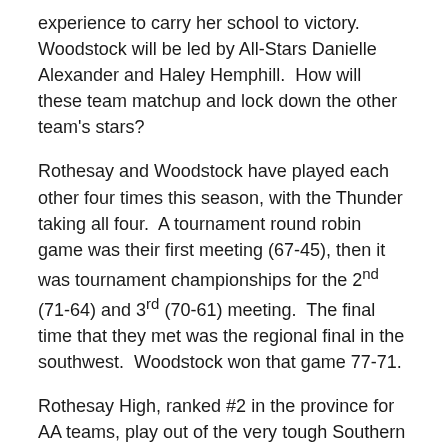experience to carry her school to victory.  Woodstock will be led by All-Stars Danielle Alexander and Haley Hemphill.  How will these team matchup and lock down the other team's stars?
Rothesay and Woodstock have played each other four times this season, with the Thunder taking all four.  A tournament round robin game was their first meeting (67-45), then it was tournament championships for the 2nd (71-64) and 3rd (70-61) meeting.  The final time that they met was the regional final in the southwest.  Woodstock won that game 77-71.
Rothesay High, ranked #2 in the province for AA teams, play out of the very tough Southern Conference.  They finished the regular season with a perfect league record.  They took care of Fundy, Harvey, and St. Stephen along the way.  Rothesay would play St. Stephen in the playoffs, and won 69 – 32 to move on.  Harvey defeated Fundy in the other semi-